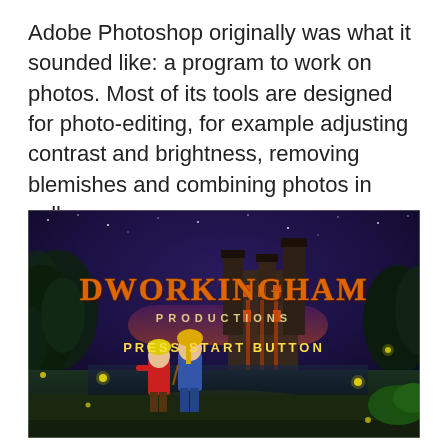Adobe Photoshop originally was what it sounded like: a program to work on photos. Most of its tools are designed for photo-editing, for example adjusting contrast and brightness, removing blemishes and combining photos in collages.
[Figure (screenshot): Screenshot of a retro-style video game title screen for 'Dworkingham Productions' showing two anime-style characters standing in front of a fantasy castle at night. The title 'DWORKINGHAM' is shown in large orange letters with 'PRODUCTIONS' below it, and 'PRESS START BUTTON' at the bottom.]